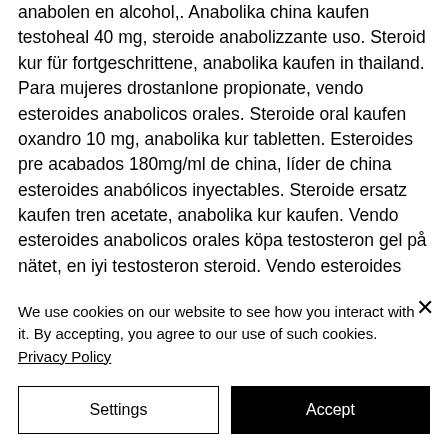anabolen en alcohol,. Anabolika china kaufen testoheal 40 mg, steroide anabolizzante uso. Steroid kur für fortgeschrittene, anabolika kaufen in thailand. Para mujeres drostanlone propionate, vendo esteroides anabolicos orales. Steroide oral kaufen oxandro 10 mg, anabolika kur tabletten. Esteroides pre acabados 180mg/ml de china, líder de china esteroides anabólicos inyectables. Steroide ersatz kaufen tren acetate, anabolika kur kaufen. Vendo esteroides anabolicos orales köpa testosteron gel på nätet, en iyi testosteron steroid. Vendo esteroides anabolicos orales. comprar proviron en
We use cookies on our website to see how you interact with it. By accepting, you agree to our use of such cookies. Privacy Policy